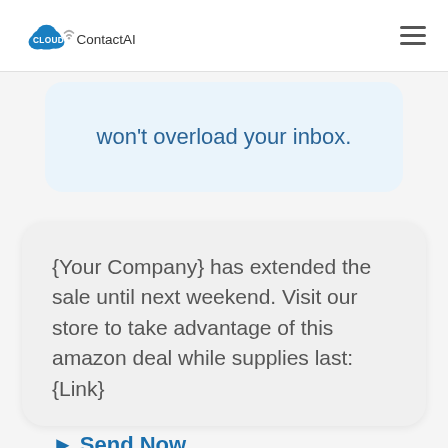[Figure (logo): CloudContactAI logo with blue cloud icon and wifi signal, text 'CLOUD ContactAI']
won't overload your inbox.
{Your Company} has extended the sale until next weekend. Visit our store to take advantage of this amazon deal while supplies last: {Link}
➤ Send Now